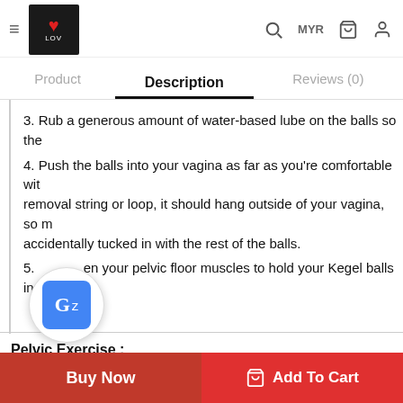≡  [Lov Logo]   Product   Description   Reviews (0)   🔍 MYR 🛒 👤
Description (active tab)
3. Rub a generous amount of water-based lube on the balls so the
4. Push the balls into your vagina as far as you're comfortable with removal string or loop, it should hang outside of your vagina, so m accidentally tucked in with the rest of the balls.
5. [Google Translate overlay] en your pelvic floor muscles to hold your Kegel balls inside
Pelvic Exercise :
1. Lie on your back and insert the balls. Make sure eve
2. Tighten your pelvic floor muscles to lift and squeeze
3. Hold the contraction for 5 seconds, then relax for an
5 times in a row to complete one se
Buy Now    Add To Cart